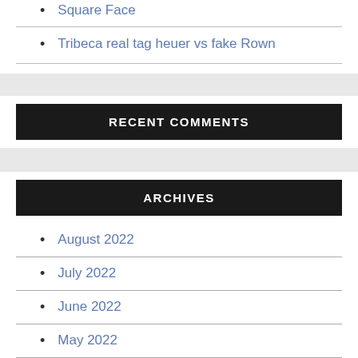Square Face
Tribeca real tag heuer vs fake Rown
RECENT COMMENTS
ARCHIVES
August 2022
July 2022
June 2022
May 2022